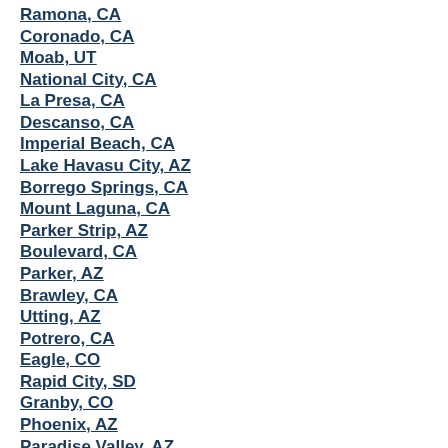Ramona, CA
Coronado, CA
Moab, UT
National City, CA
La Presa, CA
Descanso, CA
Imperial Beach, CA
Lake Havasu City, AZ
Borrego Springs, CA
Mount Laguna, CA
Parker Strip, AZ
Boulevard, CA
Parker, AZ
Brawley, CA
Utting, AZ
Potrero, CA
Eagle, CO
Rapid City, SD
Granby, CO
Phoenix, AZ
Paradise Valley, AZ
Nunn, CO
San Luis, AZ
Glendale, AZ
Pierce, CO